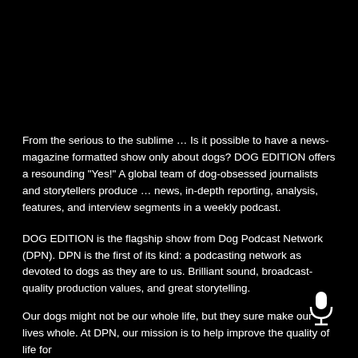From the serious to the sublime … Is it possible to have a news-magazine formatted show only about dogs? DOG EDITION offers a resounding "Yes!" A global team of dog-obsessed journalists and storytellers produce … news, in-depth reporting, analysis, features, and interview segments in a weekly podcast.
DOG EDITION is the flagship show from Dog Podcast Network (DPN). DPN is the first of its kind: a podcasting network as devoted to dogs as they are to us. Brilliant sound, broadcast-quality production values, and great storytelling.
[Figure (illustration): White microphone icon on black background]
Our dogs might not be our whole life, but they sure make our lives whole. At DPN, our mission is to help improve the quality of life for